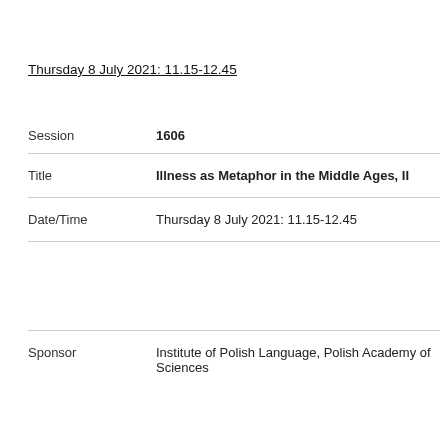Thursday 8 July 2021: 11.15-12.45
| Session | 1606 |
| Title | Illness as Metaphor in the Middle Ages, II |
| Date/Time | Thursday 8 July 2021: 11.15-12.45 |
|  |  |
| Sponsor | Institute of Polish Language, Polish Academy of Sciences |